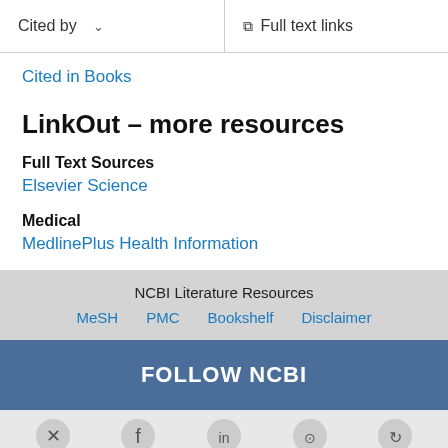Cited by    Full text links
Cited in Books
LinkOut – more resources
Full Text Sources
Elsevier Science
Medical
MedlinePlus Health Information
NCBI Literature Resources
MeSH  PMC  Bookshelf  Disclaimer
FOLLOW NCBI